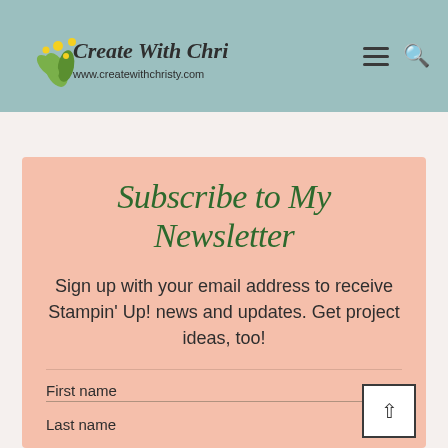Create With Christy — www.createwithchristy.com
Subscribe to My Newsletter
Sign up with your email address to receive Stampin' Up! news and updates. Get project ideas, too!
First name
Last name